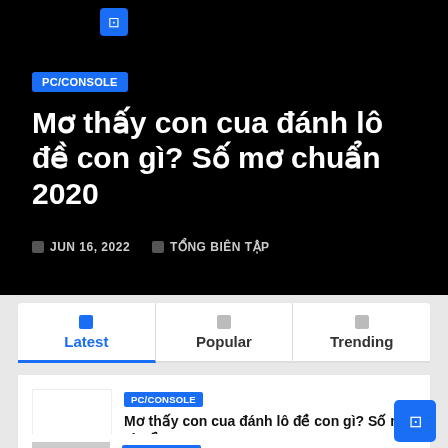[Figure (screenshot): Hero banner with black background showing a blog article header]
Mơ thấy con cua đánh lô đề con gì? Số mơ chuẩn 2020
JUN 16, 2022  TỔNG BIÊN TẬP
Latest  Popular  Trending
PC/CONSOLE
Mơ thấy con cua đánh lô đề con gì? Số mơ chuẩn 2020
PC/CONSOLE